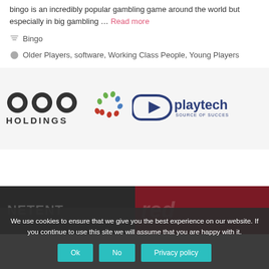bingo is an incredibly popular gambling game around the world but especially in big gambling … Read more
Bingo
Older Players, software, Working Class People, Young Players
[Figure (logo): 888 Holdings logo and Playtech Source of Success logo side by side on light grey background]
[Figure (infographic): Bottom section showing NetEnt and red background logos, partially visible]
We use cookies to ensure that we give you the best experience on our website. If you continue to use this site we will assume that you are happy with it. Ok No Privacy policy